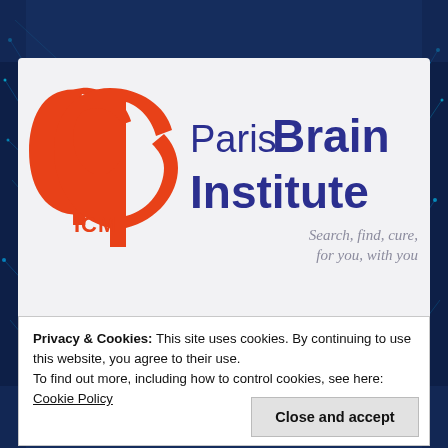[Figure (logo): Paris Brain Institute (ICM) logo - orange head/brain silhouette icon with 'ICM' text below, beside dark blue bold text 'Paris Brain Institute' and italic grey tagline 'Search, find, cure, for you, with you']
Privacy & Cookies: This site uses cookies. By continuing to use this website, you agree to their use.
To find out more, including how to control cookies, see here:
Cookie Policy
Close and accept